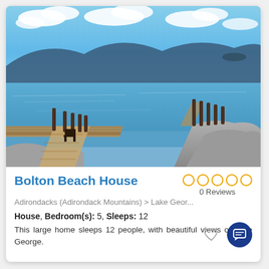[Figure (photo): A wooden dock/pier extending over blue lake water with mountains in the background under a partly cloudy sky. Rocky shoreline visible in the foreground.]
Bolton Beach House
0 Reviews
Adirondacks (Adirondack Mountains) > Lake Geor...
House, Bedroom(s): 5, Sleeps: 12
This large home sleeps 12 people, with beautiful views of Lake George.